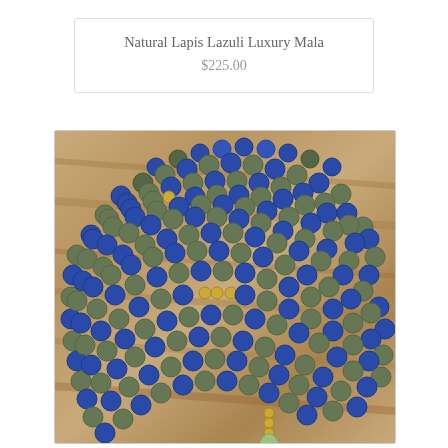Natural Lapis Lazuli Luxury Mala
$225.00
[Figure (photo): Photograph of a Natural Lapis Lazuli Luxury Mala laid on a wooden surface. The mala consists of alternating blue lapis lazuli and green serpentine beads with gold accent beads, coiled in a circular arrangement. A bright blue silk tassel hangs from the bottom, with a green teardrop gem accent bead above it.]